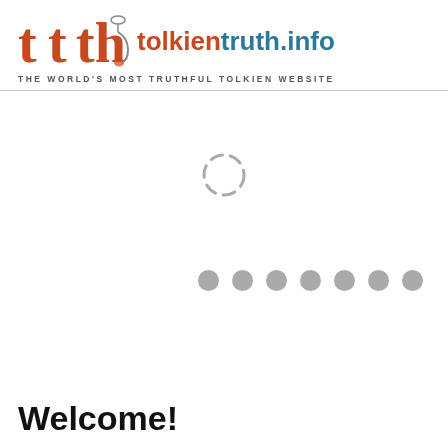tolkientruth.info — THE WORLD'S MOST TRUTHFUL TOLKIEN WEBSITE
[Figure (other): A loading spinner (dashed circle outline) in the center of the page]
[Figure (other): A row of 7 grey circular dots, resembling a loading indicator]
Welcome!